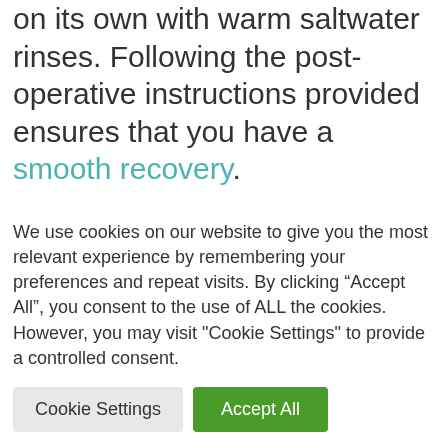on its own with warm saltwater rinses. Following the post-operative instructions provided ensures that you have a smooth recovery.
While it may be unpleasant to think about getting wisdom teeth removed, it will improve the overall health of your mouth, now and in the future, it will also it and...
We use cookies on our website to give you the most relevant experience by remembering your preferences and repeat visits. By clicking “Accept All”, you consent to the use of ALL the cookies. However, you may visit "Cookie Settings" to provide a controlled consent.